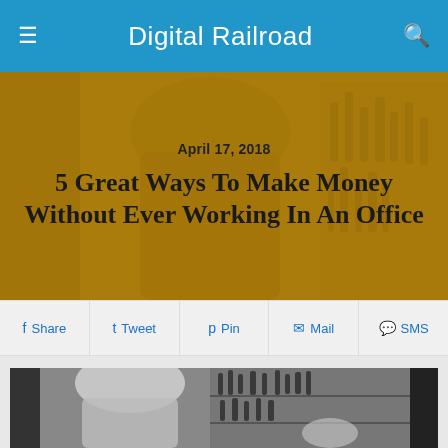Digital Railroad
April 17, 2018
5 Great Ways To Make Money Without Ever Working In An Office
[Figure (screenshot): Hero banner with golden-tinted bar scene background showing a bartender from behind with liquor bottles; overlaid with article date and title text]
Share  Tweet  Pin  Mail  SMS
[Figure (photo): Black and white photo of a bar scene, bartender in white shirt facing away, bar shelves with liquor bottles visible in background]